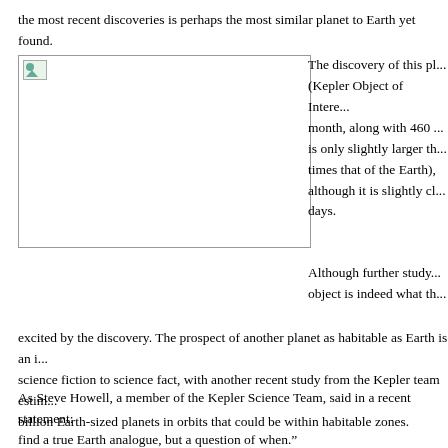the most recent discoveries is perhaps the most similar planet to Earth yet found.
[Figure (photo): Image placeholder with broken image icon]
The discovery of this pl... (Kepler Object of Intere... month, along with 460 ... is only slightly larger th... times that of the Earth),... although it is slightly cl... days.
Although further study... object is indeed what th... excited by the discovery. The prospect of another planet as habitable as Earth is an i... science fiction to science fact, with another recent study from the Kepler team estim... billion Earth-sized planets in orbits that could be within habitable zones.
As Steve Howell, a member of the Kepler Science Team, said in a recent statement: find a true Earth analogue, but a question of when."